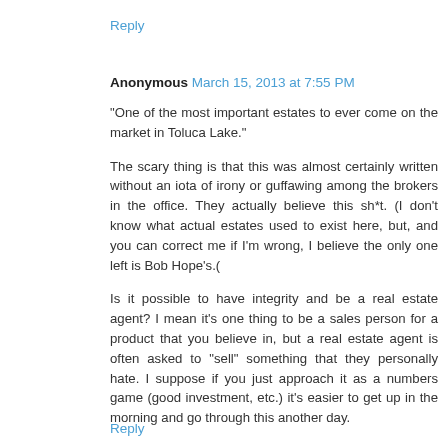Reply
Anonymous  March 15, 2013 at 7:55 PM
"One of the most important estates to ever come on the market in Toluca Lake."

The scary thing is that this was almost certainly written without an iota of irony or guffawing among the brokers in the office. They actually believe this sh*t. (I don't know what actual estates used to exist here, but, and you can correct me if I'm wrong, I believe the only one left is Bob Hope's.(

Is it possible to have integrity and be a real estate agent? I mean it's one thing to be a sales person for a product that you believe in, but a real estate agent is often asked to "sell" something that they personally hate. I suppose if you just approach it as a numbers game (good investment, etc.) it's easier to get up in the morning and go through this another day.
Reply